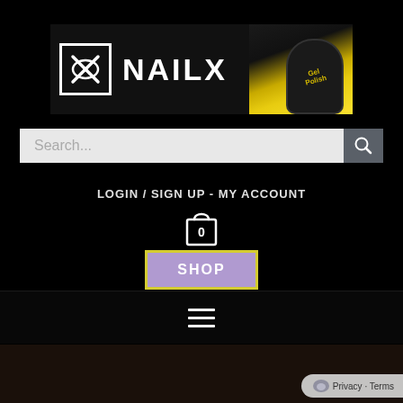[Figure (logo): NAILX brand banner with logo box containing X symbol, brand name NAILX in white on black background, and hand with yellow nail polish product on right side]
Search...
LOGIN / SIGN UP - MY ACCOUNT
[Figure (other): Shopping cart icon with number 0 inside]
SHOP
[Figure (other): Hamburger menu icon with three horizontal lines]
[Figure (screenshot): Bottom dark strip with partial content]
Privacy · Terms